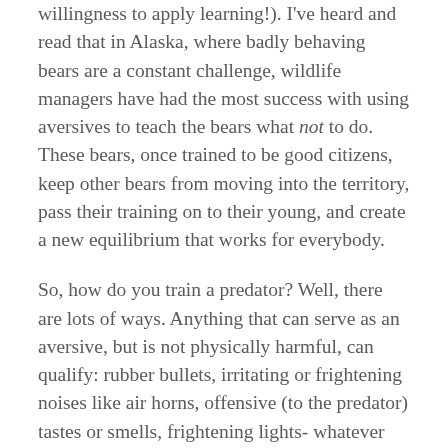willingness to apply learning!). I've heard and read that in Alaska, where badly behaving bears are a constant challenge, wildlife managers have had the most success with using aversives to teach the bears what not to do. These bears, once trained to be good citizens, keep other bears from moving into the territory, pass their training on to their young, and create a new equilibrium that works for everybody.
So, how do you train a predator? Well, there are lots of ways. Anything that can serve as an aversive, but is not physically harmful, can qualify: rubber bullets, irritating or frightening noises like air horns, offensive (to the predator) tastes or smells, frightening lights- whatever works. And obviously that could be different depending on the animal you're trying to train, so creativity is key. "Bear trainers" in Alaska then take the additional step of pairing the aversive consequence with an association to someone yelling "Bad bear! Bad bear!" Then, just yelling the phrase will usually convince the bear that rubber bullets might be coming, so he'd better get a move on. This has apparently been fairly empowering to some